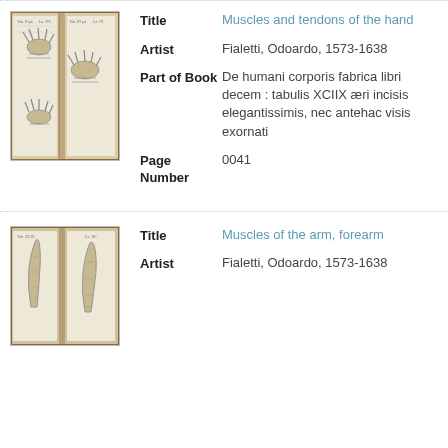[Figure (illustration): An old anatomical book open showing illustrations of muscles and tendons of the hand, three hand/arm views on aged paper.]
Title: Muscles and tendons of the hand
Artist: Fialetti, Odoardo, 1573-1638
Part of Book: De humani corporis fabrica libri decem : tabulis XCIIX æri incisis elegantissimis, nec antehac visis exornati
Page Number: 0041
[Figure (illustration): An old anatomical book open showing illustrations of muscles of the arm and forearm on aged paper.]
Title: Muscles of the arm, forearm
Artist: Fialetti, Odoardo, 1573-1638